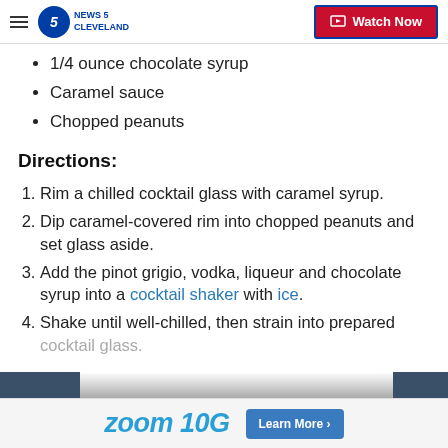NEWS 5 CLEVELAND | Watch Now
1/4 ounce chocolate syrup
Caramel sauce
Chopped peanuts
Directions:
1. Rim a chilled cocktail glass with caramel syrup.
2. Dip caramel-covered rim into chopped peanuts and set glass aside.
3. Add the pinot grigio, vodka, liqueur and chocolate syrup into a cocktail shaker with ice.
4. Shake until well-chilled, then strain into prepared cocktail glass.